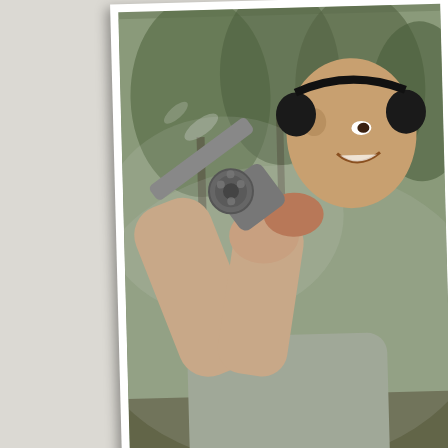[Figure (photo): A man smiling and holding up a revolver pistol with both hands at an outdoor shooting range. He is wearing black ear protection headphones and a grey t-shirt. Background shows trees and smoky/hazy atmosphere. Photo credit: RAYMOND CHANG in bottom left corner with a small red marker.]
Gettin shot at to g
This entry was posted on Thursday, October 6th, 2011 at 2:33 am. You can follow any responses through the RSS 2.0 feed. You can leave a response, or trackback from your own sit